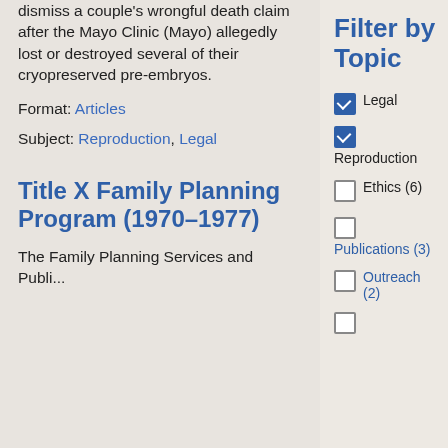dismiss a couple's wrongful death claim after the Mayo Clinic (Mayo) allegedly lost or destroyed several of their cryopreserved pre-embryos.
Format: Articles
Subject: Reproduction, Legal
Title X Family Planning Program (1970–1977)
The Family Planning Services and Public...
Filter by Topic
Legal (checked)
Reproduction (checked)
Ethics (6) (unchecked)
Publications (3) (unchecked)
Outreach (2) (unchecked)